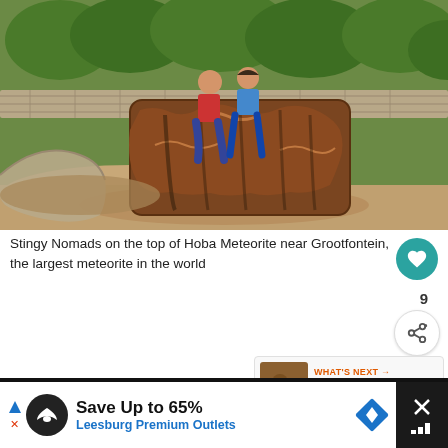[Figure (photo): Two people (Stingy Nomads) sitting on top of the large brown Hoba Meteorite near Grootfontein, Namibia. The meteorite is surrounded by a stone enclosure. Trees visible in background.]
Stingy Nomads on the top of Hoba Meteorite near Grootfontein, the largest meteorite in the world
WHAT'S NEXT → Cape Town to Namibia - th...
This website uses cookies to improve your experience. We'll assume you're ok with this, but you can opt-out if you wish.
Save Up to 65%
Leesburg Premium Outlets